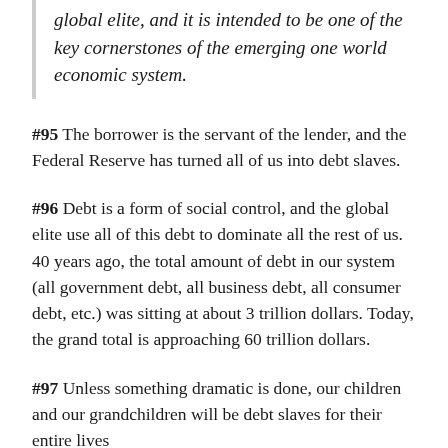global elite, and it is intended to be one of the key cornerstones of the emerging one world economic system.
#95 The borrower is the servant of the lender, and the Federal Reserve has turned all of us into debt slaves.
#96 Debt is a form of social control, and the global elite use all of this debt to dominate all the rest of us. 40 years ago, the total amount of debt in our system (all government debt, all business debt, all consumer debt, etc.) was sitting at about 3 trillion dollars. Today, the grand total is approaching 60 trillion dollars.
#97 Unless something dramatic is done, our children and our grandchildren will be debt slaves for their entire lives